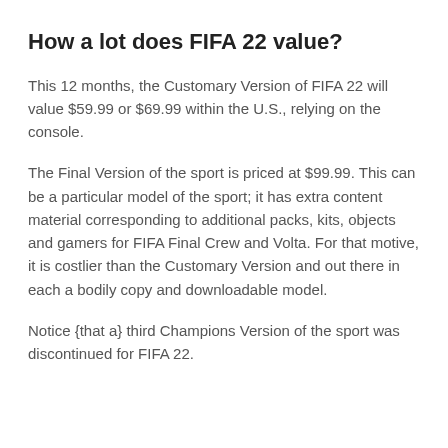How a lot does FIFA 22 value?
This 12 months, the Customary Version of FIFA 22 will value $59.99 or $69.99 within the U.S., relying on the console.
The Final Version of the sport is priced at $99.99. This can be a particular model of the sport; it has extra content material corresponding to additional packs, kits, objects and gamers for FIFA Final Crew and Volta. For that motive, it is costlier than the Customary Version and out there in each a bodily copy and downloadable model.
Notice {that a} third Champions Version of the sport was discontinued for FIFA 22.